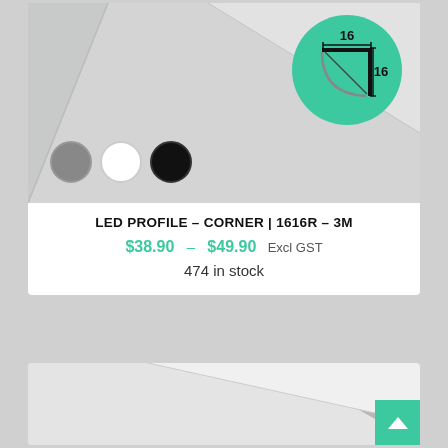[Figure (photo): Product photo of LED corner profile with aluminum extrusion. Shows three color swatches (gray, white, black) and a green circle with cross-section diagram showing 16x16mm dimensions.]
LED PROFILE – CORNER | 1616R – 3M
$38.90 – $49.90 Excl GST
474 in stock
[Figure (photo): Partial product photo of another LED profile, showing aluminum corner extrusion from below, white/silver tones.]